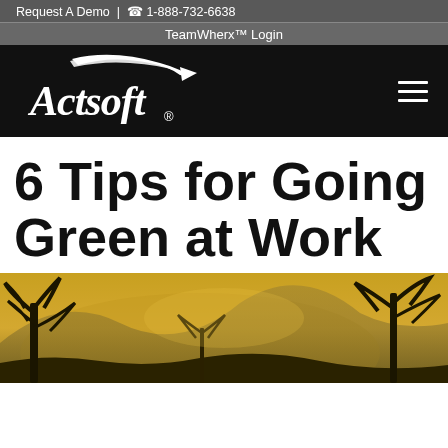Request A Demo | 📞 1-888-732-6638
TeamWherx™ Login
[Figure (logo): Actsoft logo — white stylized arrow swoosh above the word 'Actsoft' in white italic serif font with registered trademark symbol, on black background. Hamburger menu icon (three horizontal lines) in white on right side.]
6 Tips for Going Green at Work
[Figure (photo): Outdoor nature scene with trees silhouetted against a warm golden-yellow sky with misty mountains in the background.]